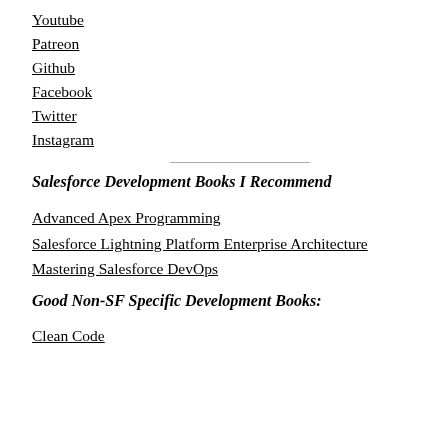Youtube
Patreon
Github
Facebook
Twitter
Instagram
Salesforce Development Books I Recommend
Advanced Apex Programming
Salesforce Lightning Platform Enterprise Architecture
Mastering Salesforce DevOps
Good Non-SF Specific Development Books:
Clean Code